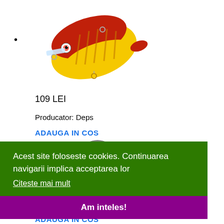[Figure (photo): Colorful fishing lure/crankbait with red and yellow coloring, resembling a small fish with hooks]
109 LEI
Producator: Deps
ADAUGA IN COS
Acest site foloseste cookies. Continuarea navigarii implica acceptarea lor
Citeste mai mult
Am inteles!
ADAUGA IN COS